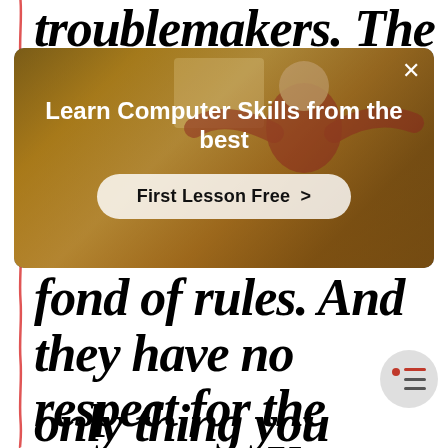troublemakers. The
[Figure (screenshot): Advertisement overlay on a webpage showing a person in a red shirt in a gym/room setting. The ad reads 'Learn Computer Skills from the best' with a 'First Lesson Free >' button. There is an X close button in the top right corner.]
fond of rules. And they have no respect for the status quo. You can quote them, disagree with them, glorify or vilify them. About the only thing you can't do